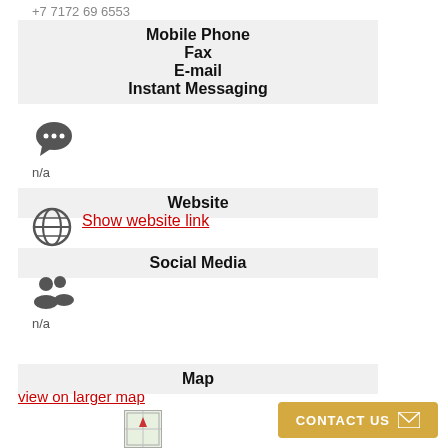+7 7172 69 6553
Mobile Phone
Fax
E-mail
Instant Messaging
[Figure (illustration): Chat bubble icon with three dots]
n/a
Website
[Figure (illustration): Globe/world icon]
Show website link
Social Media
[Figure (illustration): Two people silhouette icon]
n/a
Map
view on larger map
[Figure (map): Small map thumbnail image]
CONTACT US